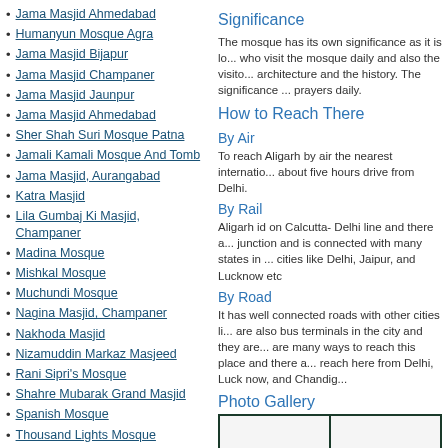Jama Masjid Ahmedabad
Humanyun Mosque Agra
Jama Masjid Bijapur
Jama Masjid Champaner
Jama Masjid Jaunpur
Jama Masjid Ahmedabad
Sher Shah Suri Mosque Patna
Jamali Kamali Mosque And Tomb
Jama Masjid, Aurangabad
Katra Masjid
Lila Gumbaj Ki Masjid, Champaner
Madina Mosque
Mishkal Mosque
Muchundi Mosque
Nagina Masjid, Champaner
Nakhoda Masjid
Nizamuddin Markaz Masjeed
Rani Sipri's Mosque
Shahre Mubarak Grand Masjid
Spanish Mosque
Thousand Lights Mosque
Toli Masjid
Goripalayam Mosque , Madurai
Significance
The mosque has its own significance as it is lo... who visit the mosque daily and also the visito... architecture and the history. The significance ... prayers daily.
How to Reach There
By Air
To reach Aligarh by air the nearest internatio... about five hours drive from Delhi.
By Rail
Aligarh id on Calcutta- Delhi line and there a... junction and is connected with many states in ... cities like Delhi, Jaipur, and Lucknow etc
By Road
It has well connected roads with other cities li... are also bus terminals in the city and they are... are many ways to reach this place and there a... reach here from Delhi, Luck now, and Chandig...
Photo Gallery
[Figure (photo): Photo gallery image cells with dark green border]